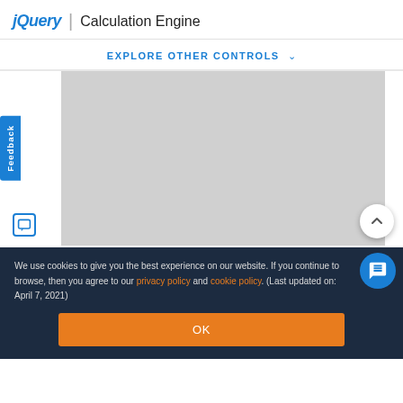jQuery | Calculation Engine
EXPLORE OTHER CONTROLS
[Figure (screenshot): Gray placeholder content area for jQuery Calculation Engine demo]
We use cookies to give you the best experience on our website. If you continue to browse, then you agree to our privacy policy and cookie policy. (Last updated on: April 7, 2021)
OK